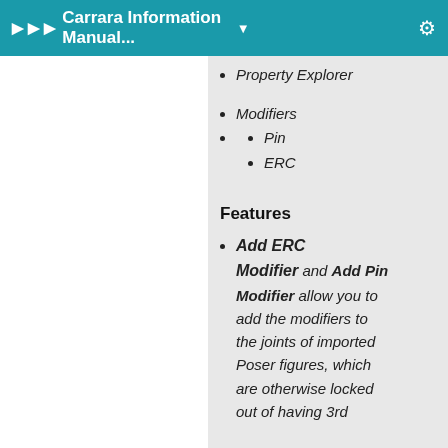▶ ▶ ▶ Carrara Information Manual... ▼
Property Explorer
Modifiers
Pin
ERC
Features
Add ERC Modifier and Add Pin Modifier allow you to add the modifiers to the joints of imported Poser figures, which are otherwise locked out of having 3rd